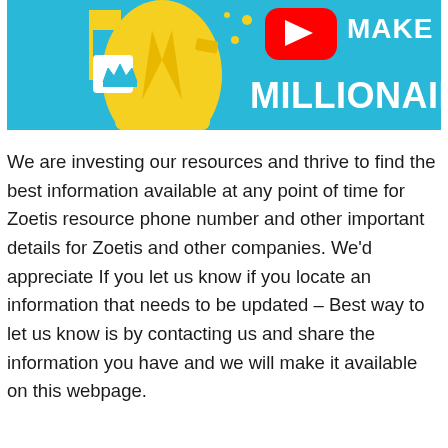[Figure (illustration): Thumbnail image showing a cartoon figure in a yellow suit on a blue background with YouTube play button icon and text 'MAKE YOU MILLIONAIRE']
We are investing our resources and thrive to find the best information available at any point of time for Zoetis resource phone number and other important details for Zoetis and other companies. We'd appreciate If you let us know if you locate an information that needs to be updated – Best way to let us know is by contacting us and share the information you have and we will make it available on this webpage.